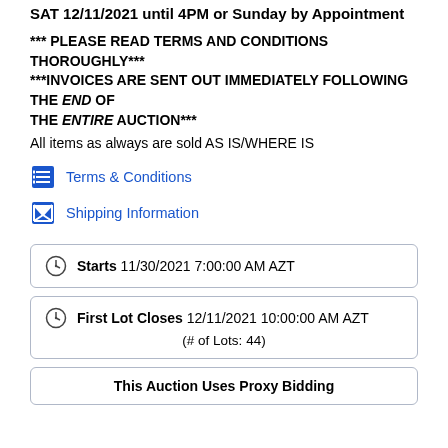SAT 12/11/2021 until 4PM or Sunday by Appointment
*** PLEASE READ TERMS AND CONDITIONS THOROUGHLY*** ***INVOICES ARE SENT OUT IMMEDIATELY FOLLOWING THE END OF THE ENTIRE AUCTION***
All items as always are sold AS IS/WHERE IS
Terms & Conditions
Shipping Information
Starts 11/30/2021 7:00:00 AM AZT
First Lot Closes 12/11/2021 10:00:00 AM AZT
(# of Lots: 44)
This Auction Uses Proxy Bidding